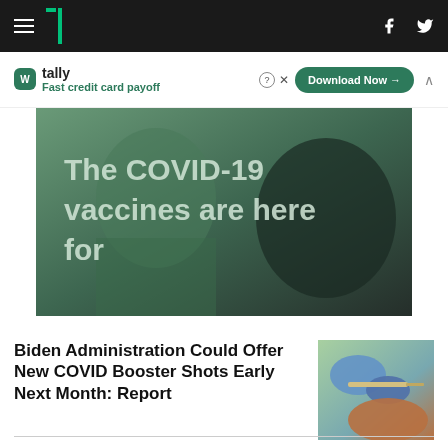HuffPost navigation bar with hamburger menu, logo, Facebook and Twitter icons
[Figure (other): Tally advertisement banner: Fast credit card payoff, Download Now button]
[Figure (photo): Hero image with text overlay: The COVID-19 vaccines are here for]
Biden Administration Could Offer New COVID Booster Shots Early Next Month: Report
[Figure (photo): Thumbnail photo of gloved hands administering a vaccine injection]
Dan Goldman, Narrowly